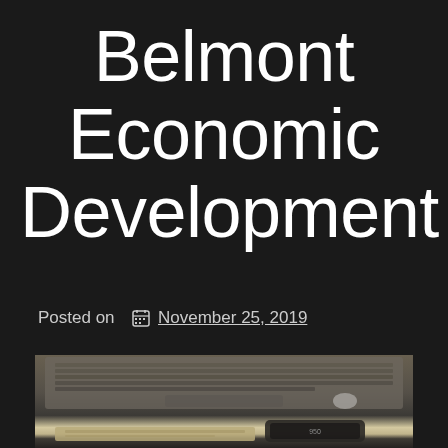Belmont Economic Development
Posted on  November 25, 2019
[Figure (photo): Blurred photograph showing a laptop computer with money (US dollar bills) and a smartphone in the foreground, set on a white surface]